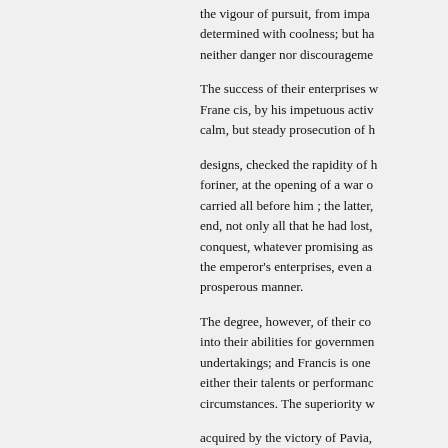the vigour of pursuit, from impat determined with coolness; but ha neither danger nor discourageme
The success of their enterprises w Frane cis, by his impetuous activ calm, but steady prosecution of h
designs, checked the rapidity of h foriner, at the opening of a war o carried all before him ; the latter, end, not only all that he had lost, conquest, whatever promising as the emperor's enterprises, even a prosperous manner.
The degree, however, of their co into their abilities for governmen undertakings; and Francis is one either their talents or performanc circumstances. The superiority w
acquired by the victory of Pavia, reign, was so manifest, that Fran inost of the other powers, not onl maintain an unequal contest, but